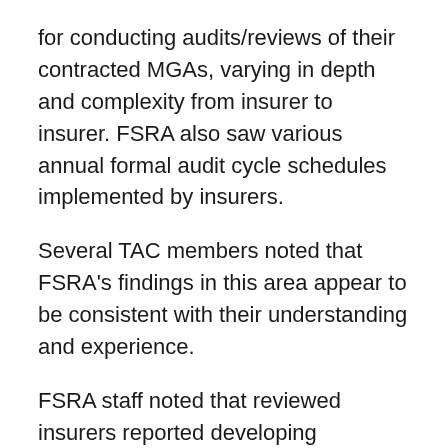for conducting audits/reviews of their contracted MGAs, varying in depth and complexity from insurer to insurer. FSRA also saw various annual formal audit cycle schedules implemented by insurers.
Several TAC members noted that FSRA's findings in this area appear to be consistent with their understanding and experience.
FSRA staff noted that reviewed insurers reported developing relationships with their MGAs such that they have been able to move beyond the policy and procedural stage to understanding implementation. This has led to efficiencies in selecting MGAs to audit, the audit cycle, and performing the audits themselves.
...